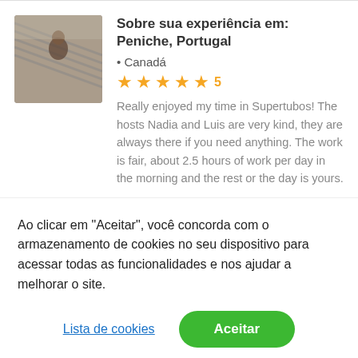Sobre sua experiência em: Peniche, Portugal
• Canadá
[Figure (other): Five gold stars rating with number 5]
Really enjoyed my time in Supertubos! The hosts Nadia and Luis are very kind, they are always there if you need anything. The work is fair, about 2.5 hours of work per day in the morning and the rest or the day is yours.
Ao clicar em "Aceitar", você concorda com o armazenamento de cookies no seu dispositivo para acessar todas as funcionalidades e nos ajudar a melhorar o site.
Lista de cookies
Aceitar